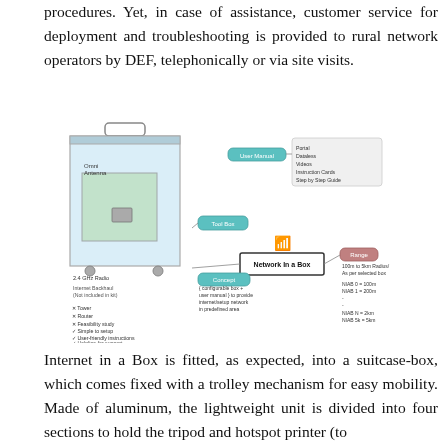login to the system, without the need of complicated procedures. Yet, in case of assistance, customer service for deployment and troubleshooting is provided to rural network operators by DEF, telephonically or via site visits.
[Figure (schematic): Network in a Box schematic diagram showing a suitcase-style hardware unit with Omni Antenna and 2.4 GHz Radio, connected to Internet Backhaul (not included in kit), a Tool Box, User Manual resources, Concept description, Network In a Box central node, and Range indicators (100m to 5km Radius). Lists exclusions (Tower, Router, Feasibility study) and inclusions (Simple to setup, User-friendly instructions, Helpline for support, AAA-compliant). Range options: NIAB 0=100m, NIAB 1=200m, NIAB N=2km, NIAB 5k=5km.]
Internet in a Box is fitted, as expected, into a suitcase-box, which comes fixed with a trolley mechanism for easy mobility. Made of aluminum, the lightweight unit is divided into four sections to hold the tripod and hotspot printer (to